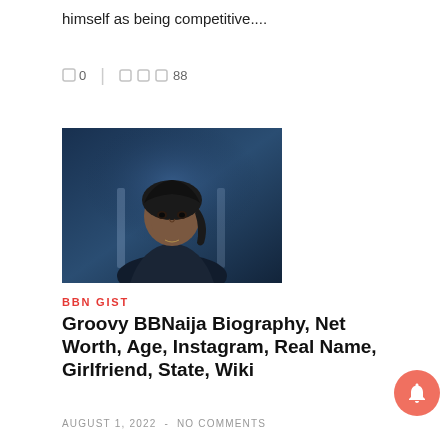himself as being competitive....
0  0    |     88
[Figure (photo): Portrait photo of Groovy, a young man wearing a dark durag/headwrap, looking at camera with a serious expression, dark blue background]
BBN GIST
Groovy BBNaija Biography, Net Worth, Age, Instagram, Real Name, Girlfriend, State, Wiki
AUGUST 1, 2022  -  NO COMMENTS
Groovy BBNaija: Groovy is an artist, model, and businessman who goes into the house hoping to walk